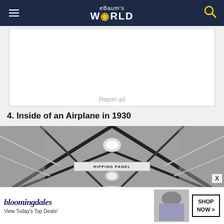eBaum's World
[Figure (other): Advertisement placeholder block with 'Report ad' text]
4. Inside of an Airplane in 1930
[Figure (photo): Black and white photograph of the inside of an airplane in 1930, showing the ceiling structure with cross beams, a light fixture, and a sign reading 'RIPPING PANEL']
[Figure (other): Bloomingdale's advertisement banner: 'bloomingdales View Today's Top Deals! SHOP NOW >']